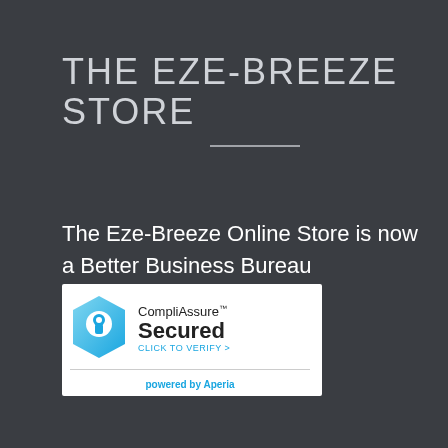THE EZE-BREEZE STORE
The Eze-Breeze Online Store is now a Better Business Bureau accredited business.
[Figure (logo): CompliAssure Secured badge with a blue hexagon icon containing a keyhole, text 'CompliAssure Secured CLICK TO VERIFY >' and 'powered by Aperia' below a divider line, on a white background.]